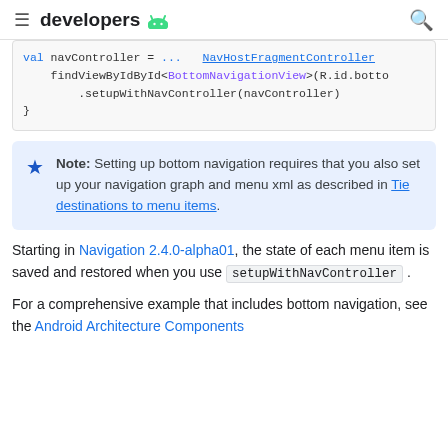developers
val navController = ... findViewById<BottomNavigationView>(R.id.botto .setupWithNavController(navController) }
Note: Setting up bottom navigation requires that you also set up your navigation graph and menu xml as described in Tie destinations to menu items.
Starting in Navigation 2.4.0-alpha01, the state of each menu item is saved and restored when you use setupWithNavController .
For a comprehensive example that includes bottom navigation, see the Android Architecture Components